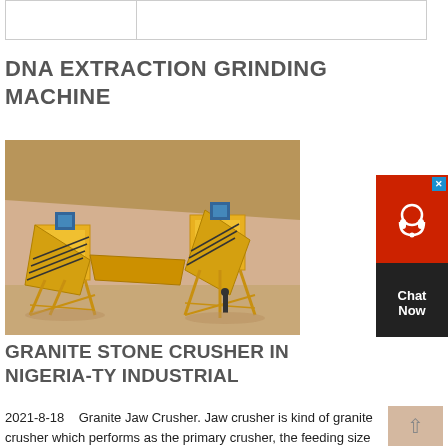|  |  |
| --- | --- |
|  |
DNA EXTRACTION GRINDING MACHINE
[Figure (photo): Large yellow granite stone crusher / mining machine on a construction/mining site with a sandy hillside background. Two large yellow conveyor/crushing units with steel frame structures.]
GRANITE STONE CRUSHER IN NIGERIA-TY INDUSTRIAL
2021-8-18   Granite Jaw Crusher. Jaw crusher is kind of granite crusher which performs as the primary crusher, the feeding size